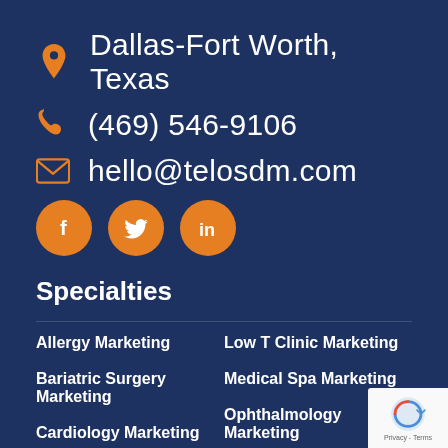Dallas-Fort Worth, Texas
(469) 546-9106
hello@telosdm.com
[Figure (infographic): Social media icons: Facebook, Twitter, LinkedIn — orange circles with white icons]
Specialties
Allergy Marketing
Low T Clinic Marketing
Bariatric Surgery Marketing
Medical Spa Marketing
Cardiology Marketing
Ophthalmology Marketing
Chiropractor Marketing
Optometry Marketing
Dentist Marketing
Pain Management Marketing